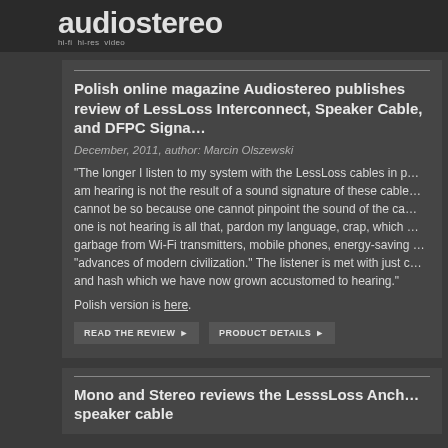audiostereo
Polish online magazine Audiostereo publishes review of LessLoss Interconnect, Speaker Cable, and DFPC Signature
December, 2011, author: Marcin Olszewski
"The longer I listen to my system with the LessLoss cables in place, the more I am convinced that what I am hearing is not the result of a sound signature of these cables. It cannot be so because one cannot pinpoint the sound of the cables. What one is not hearing is all that, pardon my language, crap, which is the omnipresent garbage from Wi-Fi transmitters, mobile phones, energy-saving light bulbs and other "advances of modern civilization." The listener is met with just clean sound, devoid of noise and hash which we have now grown accustomed to hearing."
Polish version is here.
READ THE REVIEW
PRODUCT DETAILS
Mono and Stereo reviews the LesssLoss Anchorwave speaker cable